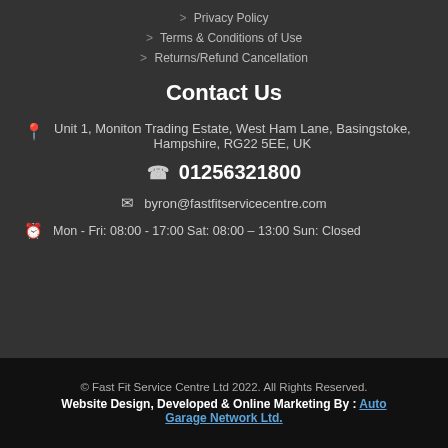> Privacy Policy
> Terms & Conditions of Use
> Returns/Refund Cancellation
Contact Us
Unit 1, Moniton Trading Estate, West Ham Lane, Basingstoke, Hampshire, RG22 5EE, UK
01256321800
byron@fastfitservicecentre.com
Mon - Fri: 08:00 - 17:00 Sat: 08:00 – 13:00 Sun: Closed
© Fast Fit Service Centre Ltd 2022. All Rights Reserved. Website Design, Developed & Online Marketing By : Auto Garage Network Ltd.